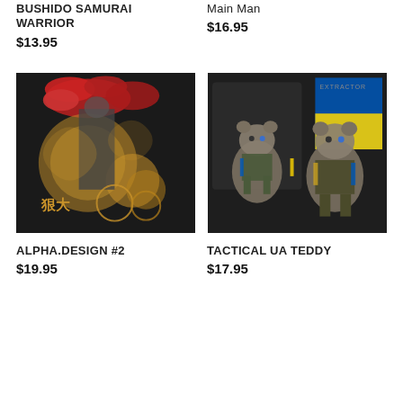BUSHIDO SAMURAI WARRIOR
$13.95
Main Man
$16.95
[Figure (photo): A decorative pin or patch featuring a samurai warrior design with red clouds, gold swirls, and Japanese characters on a dark background]
[Figure (photo): Two tactical bear PVC patches in military gear with blue and yellow Ukrainian flag elements on a dark background]
ALPHA.DESIGN #2
$19.95
TACTICAL UA TEDDY
$17.95